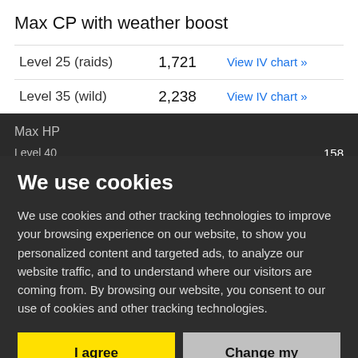Max CP with weather boost
|  | CP |  |
| --- | --- | --- |
| Level 25 (raids) | 1,721 | View IV chart » |
| Level 35 (wild) | 2,238 | View IV chart » |
Max HP
Level 40   158
Size
Height   0.6 m
Weight   3.5
We use cookies
We use cookies and other tracking technologies to improve your browsing experience on our website, to show you personalized content and targeted ads, to analyze our website traffic, and to understand where our visitors are coming from. By browsing our website, you consent to our use of cookies and other tracking technologies.
I agree
Change my preferences
Other
Base capture rate   20%